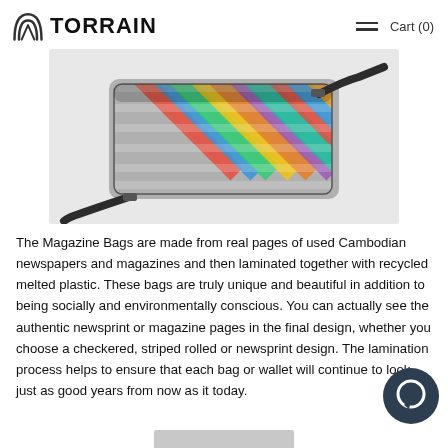TORRAIN  Cart (0)
[Figure (photo): A colorful messenger bag made from woven newspaper and magazine strips in a checkered diagonal pattern, with a black shoulder strap, on a light gray background.]
The Magazine Bags are made from real pages of used Cambodian newspapers and magazines and then laminated together with recycled melted plastic. These bags are truly unique and beautiful in addition to being socially and environmentally conscious. You can actually see the authentic newsprint or magazine pages in the final design, whether you choose a checkered, striped rolled or newsprint design. The lamination process helps to ensure that each bag or wallet will continue to look just as good years from now as it today.